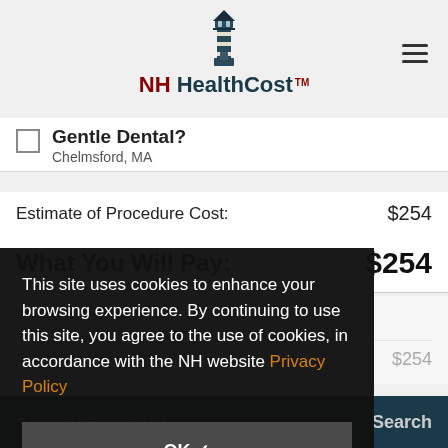NH HealthCost
Gentle Dental? Chelmsford, MA
Estimate of Procedure Cost: $254
What You Will Pay: $254
Estimate of Procedure Cost: $254
This site uses cookies to enhance your browsing experience. By continuing to use this site, you agree to the use of cookies, in accordance with the NH website Privacy Policy
OK ✓
COMPARE SELECTED    Search